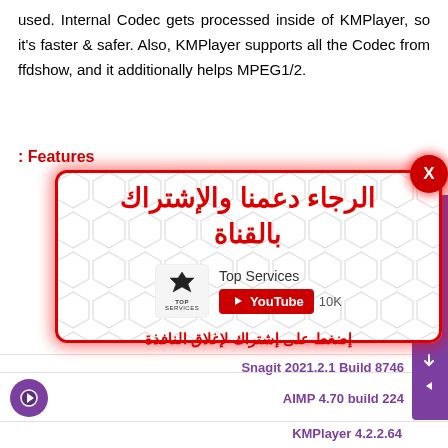used. Internal Codec gets processed inside of KMPlayer, so it's faster & safer. Also, KMPlayer supports all the Codec from ffdshow, and it additionally helps MPEG1/2.
Features:
[Figure (screenshot): A modal popup overlay with a hexagonal pattern background, red border and glow, showing Arabic text 'الرجاء دعمنا والإشتراك بالقناة' (Please support us and subscribe to the channel), a Top Services YouTube channel widget with 10K subscribers, and Arabic text 'إضغط على إشتراك لإغلاق النافذة' (Click subscribe to close the window). A red close button with X is in the top right corner.]
Snagit 2021.2.1 Build 8746
AIMP 4.70 build 224
KMPlayer 4.2.2.64